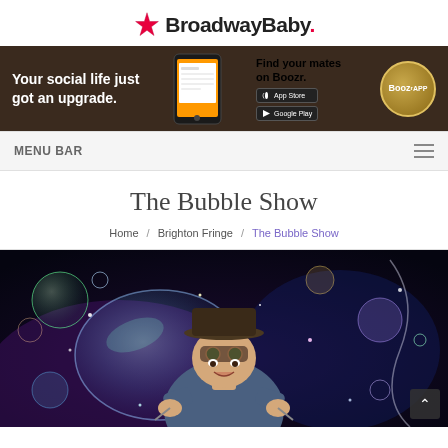[Figure (logo): BroadwayBaby logo with star icon and bold text]
[Figure (photo): Boozr app advertisement banner: 'Your social life just got an upgrade. Find your mates on Boozr.' with phone mockup, App Store and Google Play buttons, and Boozr App circular badge]
MENU BAR
The Bubble Show
Home / Brighton Fringe / The Bubble Show
[Figure (photo): Performer in hat and goggles surrounded by large colorful illuminated soap bubbles on dark stage]